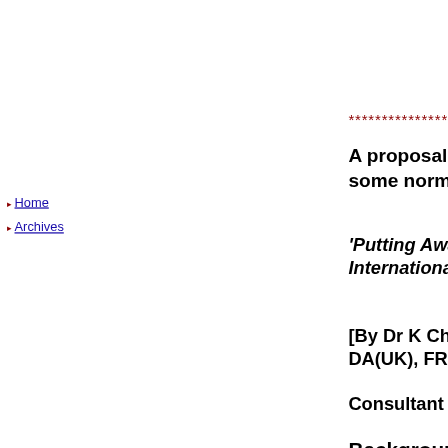Home
Archives
************************************
A proposal for the Liberation Tigers of T... some normalcy in the north-...
'Putting Away Weapons in the Armou... International Arms Monitoring M...
[By Dr K Chandradeva MBBS(Cey), M... DA(UK), FRCA...
Consultant Anaesthetist, U...
Background
The ethnic conflict in Sri Lanka between S... the longest running and the bloodiest civil... Approximately 70,000 people have been k... people have been disabled, and the war sti... fire agreement and the peace process med... Government, despite her dedicated and st... verge of collapsing. In order to overcome ... chairs (the United States, the European U...